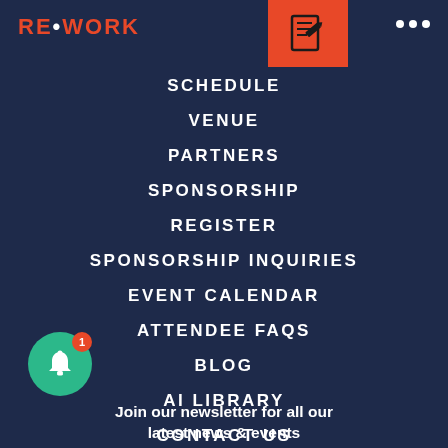RE•WORK
SCHEDULE
VENUE
PARTNERS
SPONSORSHIP
REGISTER
SPONSORSHIP INQUIRIES
EVENT CALENDAR
ATTENDEE FAQS
BLOG
AI LIBRARY
CONTACT US
Join our newsletter for all our latest news & events